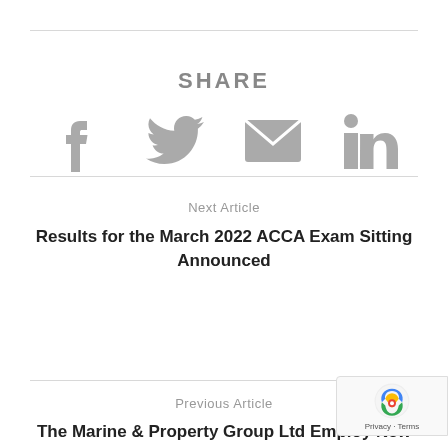SHARE
[Figure (infographic): Social share icons: Facebook, Twitter, Email, LinkedIn]
Next Article
Results for the March 2022 ACCA Exam Sitting Announced
Previous Article
The Marine & Property Group Ltd Employ New